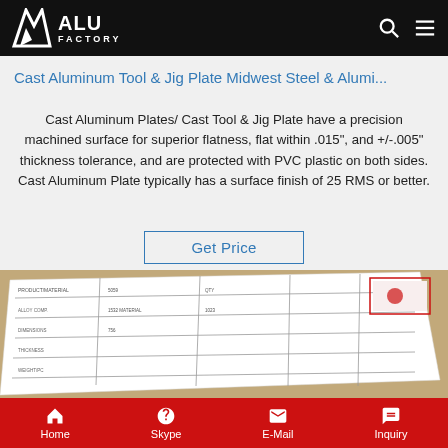ALU FACTORY
Cast Aluminum Tool & Jig Plate Midwest Steel & Alumi...
Cast Aluminum Plates/ Cast Tool & Jig Plate have a precision machined surface for superior flatness, flat within .015", and +/-.005" thickness tolerance, and are protected with PVC plastic on both sides. Cast Aluminum Plate typically has a surface finish of 25 RMS or better.
Get Price
[Figure (photo): Photo of a cast aluminum plate with a specification label/sticker attached, showing tabular data with measurements and dimensions on a gold/tan background.]
Home  Skype  E-Mail  Inquiry